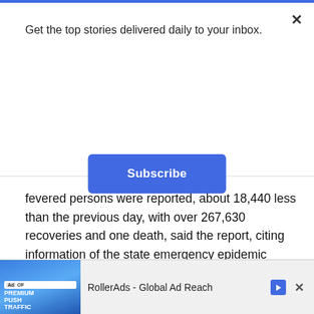[Figure (screenshot): Top blue horizontal bar at top of page]
Get the top stories delivered daily to your inbox.
[Figure (screenshot): Subscribe button - blue rounded rectangle with white text 'Subscribe']
fevered persons were reported, about 18,440 less than the previous day, with over 267,630 recoveries and one death, said the report, citing information of the state emergency epidemic prevention headquarters.
Officials and workers of pharmaceutical factories and medical instrument production units are speeding up production, the KCNA said in another report on Monday.
[Figure (screenshot): Ad banner at bottom: RollerAds - Global Ad Reach advertisement with blue image showing PREMIUM PUSH TRAFFIC text and a person figure]